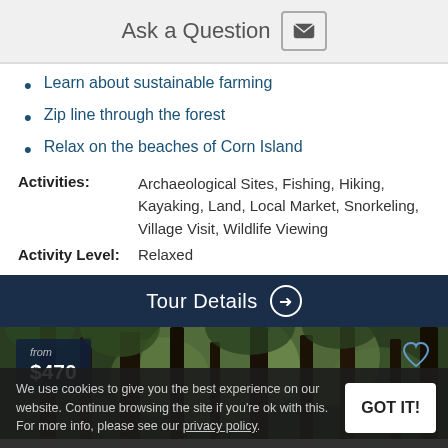Ask a Question
Learn about sustainable farming
Zip line through the forest
Relax on the beaches of Corn Island
Activities: Archaeological Sites, Fishing, Hiking, Kayaking, Land, Local Market, Snorkeling, Village Visit, Wildlife Viewing
Activity Level: Relaxed
Tour Details →
[Figure (photo): Forest scene with trees, showing a price badge 'from $470']
We use cookies to give you the best experience on our website. Continue browsing the site if you're ok with this. For more info, please see our privacy policy.